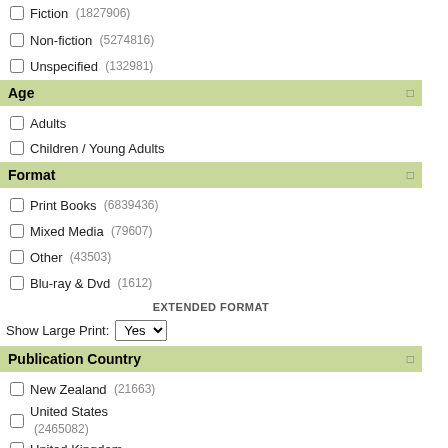Fiction (1827906)
Non-fiction (5274816)
Unspecified (132981)
Age
Adults
Children / Young Adults
Format
Print Books (6839436)
Mixed Media (79607)
Other (43503)
Blu-ray & Dvd (1612)
EXTENDED FORMAT
Show Large Print: Yes
Publication Country
New Zealand (21663)
United States (2465082)
United Kingdom
[Figure (photo): Book cover - red/dark cover by Bren MacDibble]
From the author of the m... comes an intense and th...
| Field | Value |
| --- | --- |
| ISBN | 97817... |
| Published NZ | 4 Feb ... |
| Publisher | Allen &... |
| Interest Age | Childre... |
| Availability | 999 In-... 14 wor... |
View details for this t...
[Figure (photo): Book cover - Smile by Raina Telgemeier, teal cover with yellow smiley face wearing braces]
Smile (Trade Paperb...
By Telgemeier, Raina; l...
Raina just wants to be a... she trips and falls, severe... long and frustrating journ... embarrassing headgear,...
Read more